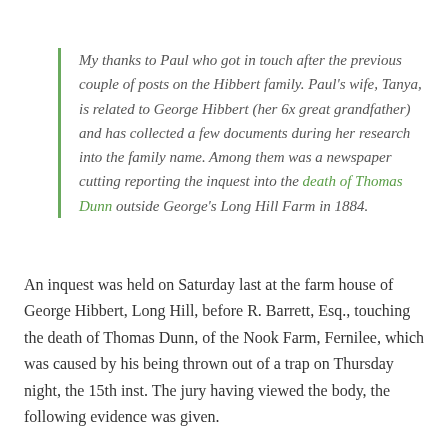My thanks to Paul who got in touch after the previous couple of posts on the Hibbert family. Paul's wife, Tanya, is related to George Hibbert (her 6x great grandfather) and has collected a few documents during her research into the family name. Among them was a newspaper cutting reporting the inquest into the death of Thomas Dunn outside George's Long Hill Farm in 1884.
An inquest was held on Saturday last at the farm house of George Hibbert, Long Hill, before R. Barrett, Esq., touching the death of Thomas Dunn, of the Nook Farm, Fernilee, which was caused by his being thrown out of a trap on Thursday night, the 15th inst. The jury having viewed the body, the following evidence was given.